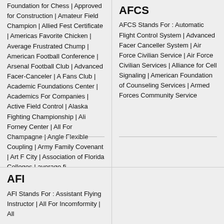Foundation for Chess | Approved for Construction | Amateur Field Champion | Allied Fest Certificate | Americas Favorite Chicken | Average Frustrated Chump | American Football Conference | Arsenal Football Club | Advanced Facer-Canceler | A Fans Club | Academic Foundations Center | Academics For Companies | Active Field Control | Alaska Fighting Championship | Ali Forney Center | All For Champagne | Angle Flexible Coupling | Army Family Covenant | Art F City | Association of Florida Colleges | average fi
AFCS
AFCS Stands For : Automatic Flight Control System | Advanced Facer Canceller System | Air Force Civilian Service | Air Force Civilian Services | Alliance for Cell Signaling | American Foundation of Counseling Services | Armed Forces Community Service
AFI
AFI Stands For : Assistant Flying Instructor | All For Incomformity | All